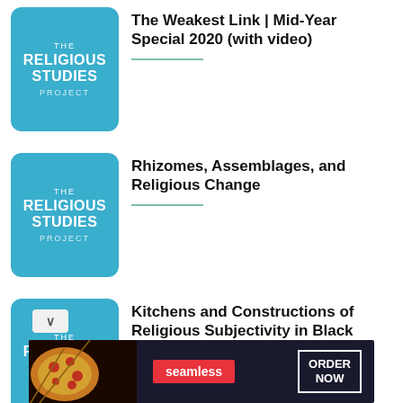[Figure (logo): The Religious Studies Project logo - blue rounded square]
The Weakest Link | Mid-Year Special 2020 (with video)
[Figure (logo): The Religious Studies Project logo - blue rounded square]
Rhizomes, Assemblages, and Religious Change
[Figure (logo): The Religious Studies Project logo - blue rounded square]
Kitchens and Constructions of Religious Subjectivity in Black Atlantic Traditions
[Figure (screenshot): Seamless food delivery advertisement banner with pizza image, Seamless logo, and ORDER NOW button]